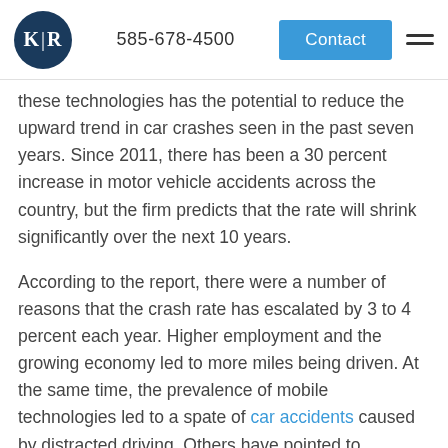K|R  585-678-4500  Contact
these technologies has the potential to reduce the upward trend in car crashes seen in the past seven years. Since 2011, there has been a 30 percent increase in motor vehicle accidents across the country, but the firm predicts that the rate will shrink significantly over the next 10 years.
According to the report, there were a number of reasons that the crash rate has escalated by 3 to 4 percent each year. Higher employment and the growing economy led to more miles being driven. At the same time, the prevalence of mobile technologies led to a spate of car accidents caused by distracted driving. Others have pointed to marijuana legalization as leading to a growing number of crashes. Despite all of these factors